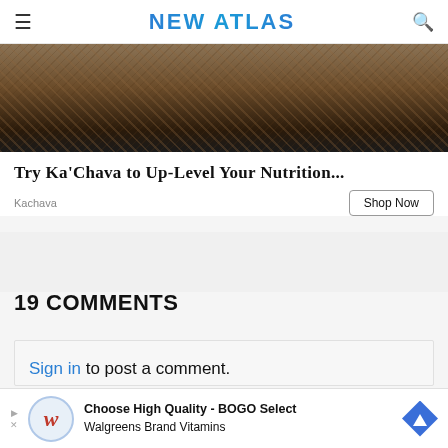NEW ATLAS
[Figure (photo): Partial photo of dark soil/earth texture, cropped at top]
Try Ka'Chava to Up-Level Your Nutrition...
Kachava    Shop Now
19 COMMENTS
Sign in to post a comment. Please keep comments to less than 150 words. No abusive material or spam will be published.
Choose High Quality - BOGO Select Walgreens Brand Vitamins